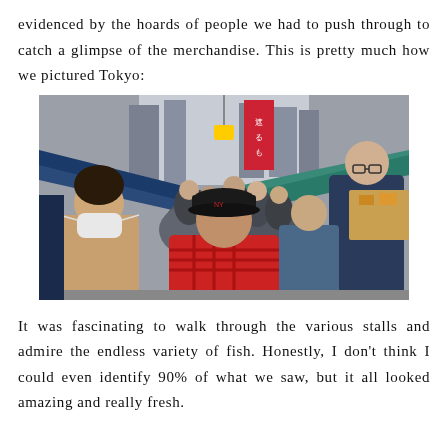evidenced by the hoards of people we had to push through to catch a glimpse of the merchandise. This is pretty much how we pictured Tokyo:
[Figure (photo): A crowded Tokyo street market scene with stalls on both sides, many people walking through a narrow lane, colorful signs in Japanese, blue awning on the left and teal awning on the right, people wearing masks and hats in the foreground.]
It was fascinating to walk through the various stalls and admire the endless variety of fish. Honestly, I don't think I could even identify 90% of what we saw, but it all looked amazing and really fresh.